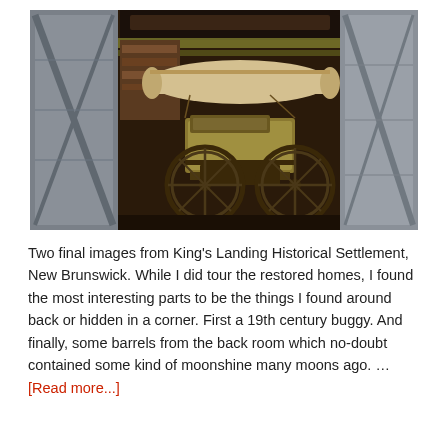[Figure (photo): An old 19th century horse-drawn buggy/carriage stored inside a weathered wooden barn. The carriage has large spoked wooden wheels, a pale cream-colored canopy top, and is surrounded by aged wooden barn walls and doors with diagonal cross-bracing.]
Two final images from King's Landing Historical Settlement, New Brunswick. While I did tour the restored homes, I found the most interesting parts to be the things I found around back or hidden in a corner. First a 19th century buggy. And finally, some barrels from the back room which no-doubt contained some kind of moonshine many moons ago. … [Read more...]